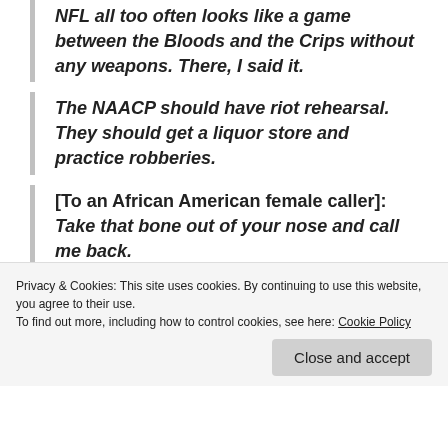NFL all too often looks like a game between the Bloods and the Crips without any weapons. There, I said it.
The NAACP should have riot rehearsal. They should get a liquor store and practice robberies.
[To an African American female caller]: Take that bone out of your nose and call me back.
I would be honored if the Drive-By Media headlined me all day long: that, and you might want to say a
Privacy & Cookies: This site uses cookies. By continuing to use this website, you agree to their use.
To find out more, including how to control cookies, see here: Cookie Policy